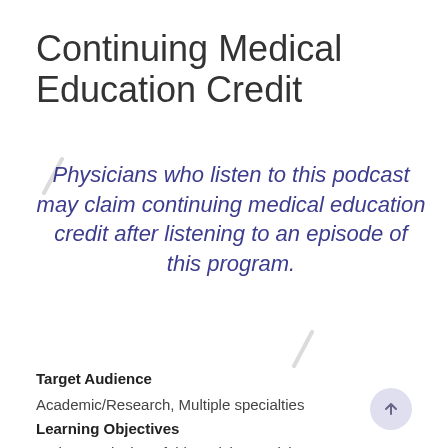Continuing Medical Education Credit
Physicians who listen to this podcast may claim continuing medical education credit after listening to an episode of this program.
Target Audience
Academic/Research, Multiple specialties
Learning Objectives
At the conclusion of this activity, participants